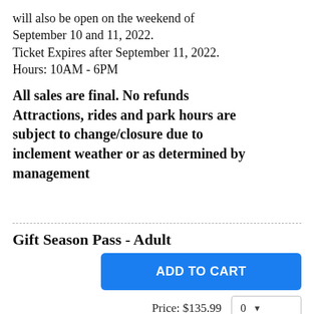will also be open on the weekend of September 10 and 11, 2022.
Ticket Expires after September 11, 2022.
Hours: 10AM - 6PM
All sales are final. No refunds Attractions, rides and park hours are subject to change/closure due to inclement weather or as determined by management
Gift Season Pass - Adult
ADD TO CART
Price: $135.99
Age 19+
Gift Season Pass - Child